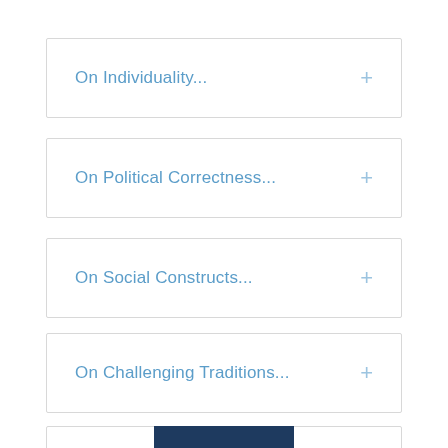On Individuality...
On Political Correctness...
On Social Constructs...
On Challenging Traditions...
The Staggering Statistic...